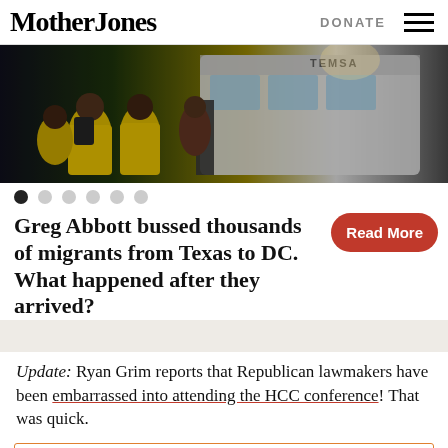Mother Jones | DONATE
[Figure (photo): People in yellow shirts standing near a bus at night, migrants arriving]
Greg Abbott bussed thousands of migrants from Texas to DC. What happened after they arrived?
Update: Ryan Grim reports that Republican lawmakers have been embarrassed into attending the HCC conference! That was quick.
FACT: